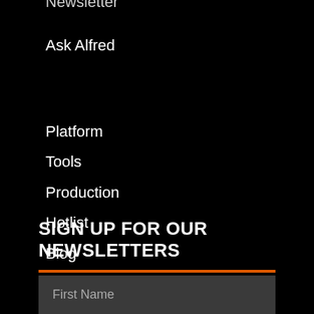Newsletter
Ask Alfred
Platform
Tools
Production
Hotlist
Blog
Contact Us
SIGN UP FOR OUR NEWSLETTERS
First Name